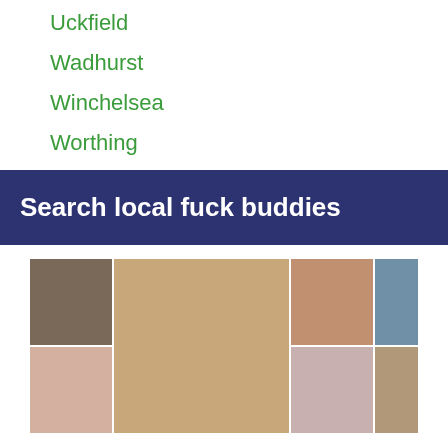Uckfield
Wadhurst
Winchelsea
Worthing
Search local fuck buddies
[Figure (photo): Grid of adult photos]